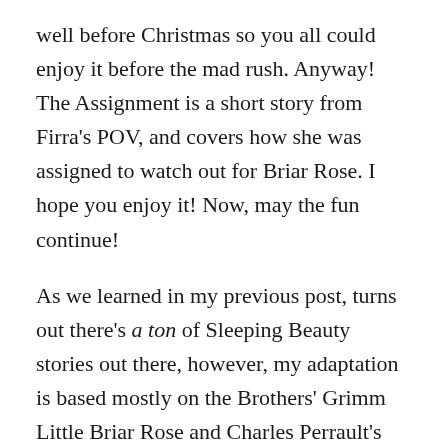well before Christmas so you all could enjoy it before the mad rush. Anyway! The Assignment is a short story from Firra's POV, and covers how she was assigned to watch out for Briar Rose. I hope you enjoy it! Now, may the fun continue!
As we learned in my previous post, turns out there's a ton of Sleeping Beauty stories out there, however, my adaptation is based mostly on the Brothers' Grimm Little Briar Rose and Charles Perrault's Sleeping Beauty. Since Little Briar Rose draws its origins from Perrault's Sleeping Beauty, I'm going to focus on Perrault's story but add in the bits and pieces that make Little Briar Rose different. So